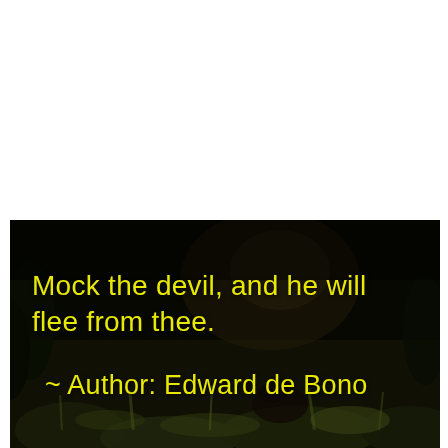[Figure (photo): Dark nature/outdoor scene with grass and foliage in low light, with yellow text overlay showing a quote attributed to Edward de Bono: 'Mock the devil, and he will flee from thee. ~ Author: Edward de Bono']